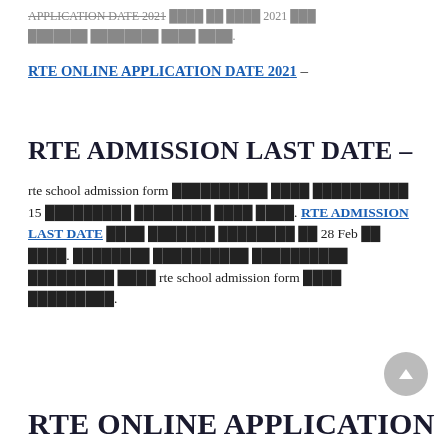APPLICATION DATE 2021 … 2021 … xxxxxxxx xxxxxxxx xxxx xxxx.
RTE ONLINE APPLICATION DATE 2021 –
RTE ADMISSION LAST DATE –
rte school admission form xxxxxxxxxx xxxx xxxxxxxxxx 15 xxxxxxxxx xxxxxxx xxxx xxxx. RTE ADMISSION LAST DATE xxxx xxxxxxx xxxxxxxx xx 28 Feb xx xxxx. xxxxxxxx xxxxxxxxxx xxxxxxxxxx xxxxxxxxx xxxx rte school admission form xxxx xxxxxxxxx.
RTE ONLINE APPLICATION